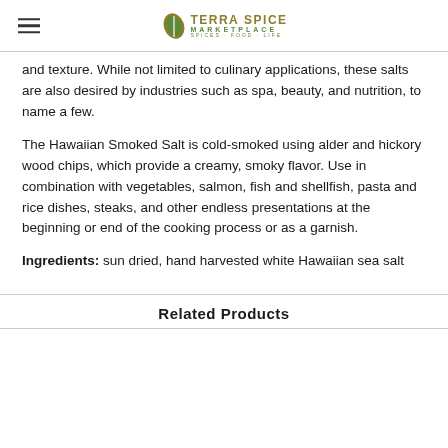Terra Spice Marketplace
and texture. While not limited to culinary applications, these salts are also desired by industries such as spa, beauty, and nutrition, to name a few.
The Hawaiian Smoked Salt is cold-smoked using alder and hickory wood chips, which provide a creamy, smoky flavor. Use in combination with vegetables, salmon, fish and shellfish, pasta and rice dishes, steaks, and other endless presentations at the beginning or end of the cooking process or as a garnish.
Ingredients: sun dried, hand harvested white Hawaiian sea salt
Related Products